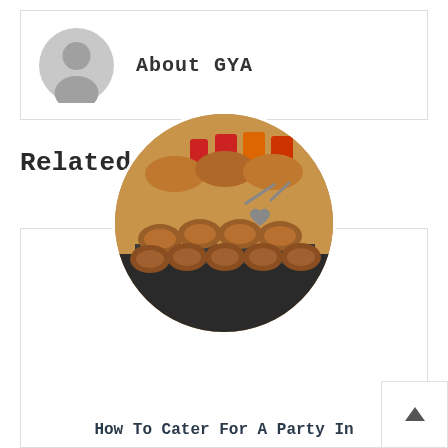About GYA
[Figure (illustration): Circular grey user avatar/profile icon placeholder]
Related Posts
[Figure (photo): Circular cropped photo of catered food items — pastries and appetizers on trays, with colorful items in background]
How To Cater For A Party In